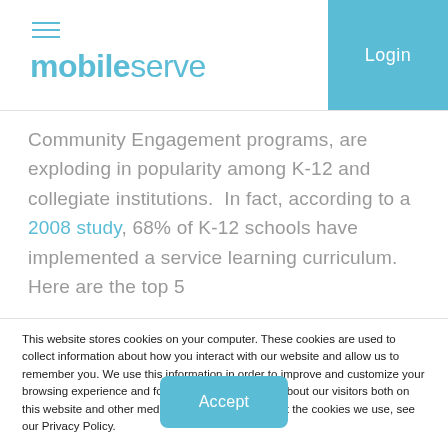[Figure (logo): MobileServe logo with hamburger menu icon and Login button in blue box]
Community Engagement programs, are exploding in popularity among K-12 and collegiate institutions. In fact, according to a 2008 study, 68% of K-12 schools have implemented a service learning curriculum. Here are the top 5
This website stores cookies on your computer. These cookies are used to collect information about how you interact with our website and allow us to remember you. We use this information in order to improve and customize your browsing experience and for analytics and metrics about our visitors both on this website and other media. To find out more about the cookies we use, see our Privacy Policy.
Accept